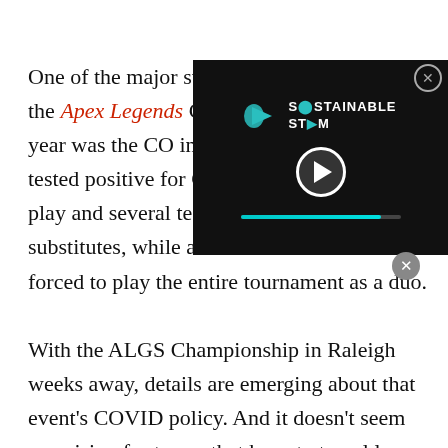One of the major stories that emerged from the Apex Legends Global Series earlier this year was the COVID protocols into place for players. At the time, anyone who tested positive for COVID was allowed to play and several teams had to field substitutes, while at least one team was forced to play the entire tournament as a duo.

With the ALGS Championship in Raleigh weeks away, details are emerging about that event's COVID policy. And it doesn't seem promising for teams that have to travel long distances.
[Figure (screenshot): Video overlay showing 'Sustainable Stream' logo with a play button and progress bar on a dark background.]